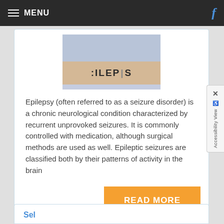MENU
[Figure (photo): Scrabble tiles spelling EPILEPSY on a wooden rack with light blue background]
Epilepsy (often referred to as a seizure disorder) is a chronic neurological condition characterized by recurrent unprovoked seizures. It is commonly controlled with medication, although surgical methods are used as well. Epileptic seizures are classified both by their patterns of activity in the brain
READ MORE